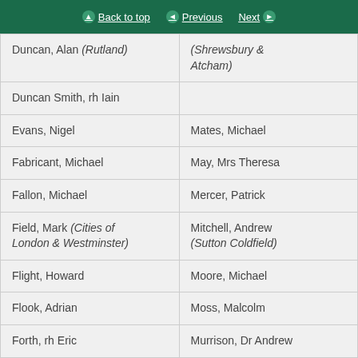Back to top | Previous | Next
| Column 1 | Column 2 |
| --- | --- |
| Duncan, Alan (Rutland) | (Shrewsbury & Atcham) |
| Duncan Smith, rh Iain |  |
| Evans, Nigel | Mates, Michael |
| Fabricant, Michael | May, Mrs Theresa |
| Fallon, Michael | Mercer, Patrick |
| Field, Mark (Cities of London & Westminster) | Mitchell, Andrew (Sutton Coldfield) |
| Flight, Howard | Moore, Michael |
| Flook, Adrian | Moss, Malcolm |
| Forth, rh Eric | Murrison, Dr Andrew |